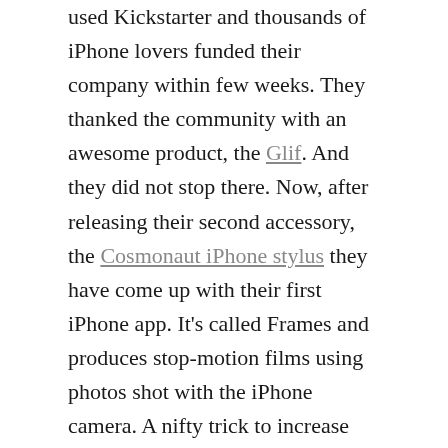used Kickstarter and thousands of iPhone lovers funded their company within few weeks. They thanked the community with an awesome product, the Glif. And they did not stop there. Now, after releasing their second accessory, the Cosmonaut iPhone stylus they have come up with their first iPhone app. It's called Frames and produces stop-motion films using photos shot with the iPhone camera. A nifty trick to increase the Glif's product sales usefulness, isn't it?
But speaking in terms of usability and overall awesomeness, Frames definitely can stand for itself. It's a lot of fun to use and produce short films with it. The taste for storytelling coupled with the...